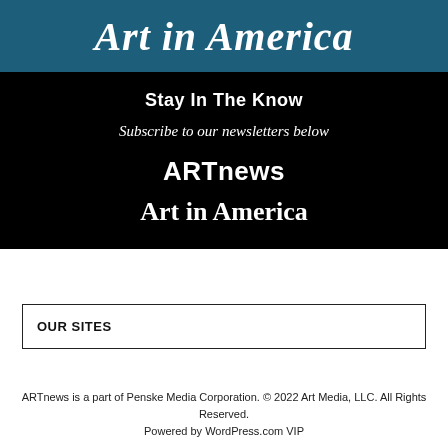Art in America
Stay In The Know
Subscribe to our newsletters below
ARTnews
Art in America
OUR SITES
ARTnews is a part of Penske Media Corporation. © 2022 Art Media, LLC. All Rights Reserved. Powered by WordPress.com VIP